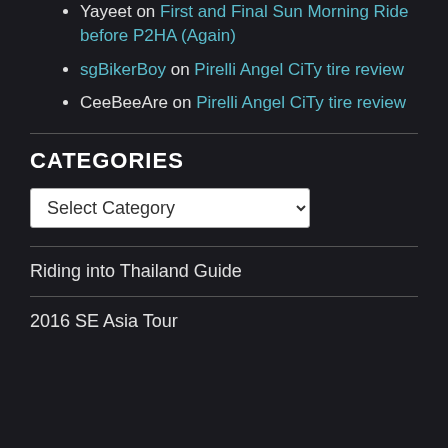Yayeet on First and Final Sun Morning Ride before P2HA (Again)
sgBikerBoy on Pirelli Angel CiTy tire review
CeeBeeAre on Pirelli Angel CiTy tire review
CATEGORIES
Select Category (dropdown)
Riding into Thailand Guide
2016 SE Asia Tour